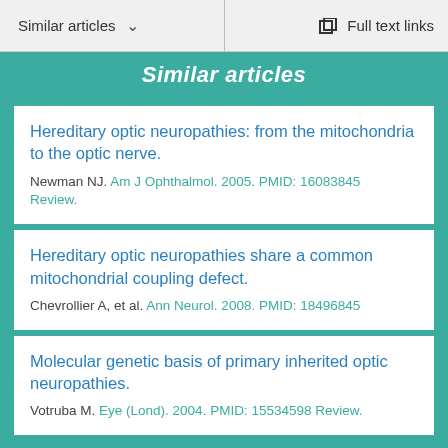Similar articles   Full text links
Similar articles
Hereditary optic neuropathies: from the mitochondria to the optic nerve.
Newman NJ. Am J Ophthalmol. 2005. PMID: 16083845 Review.
Hereditary optic neuropathies share a common mitochondrial coupling defect.
Chevrollier A, et al. Ann Neurol. 2008. PMID: 18496845
Molecular genetic basis of primary inherited optic neuropathies.
Votruba M. Eye (Lond). 2004. PMID: 15534598 Review.